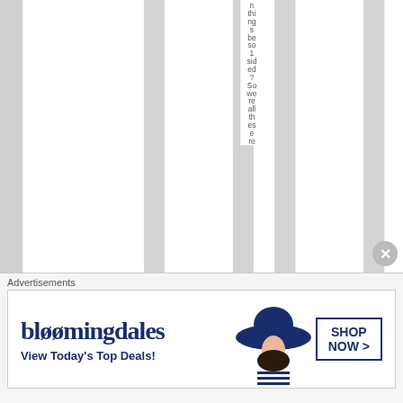n things be so 1 sided? So we re all these re
Advertisements
[Figure (other): Bloomingdale's advertisement banner with logo, 'View Today's Top Deals!' text, a woman wearing a wide-brim hat, and 'SHOP NOW >' button]